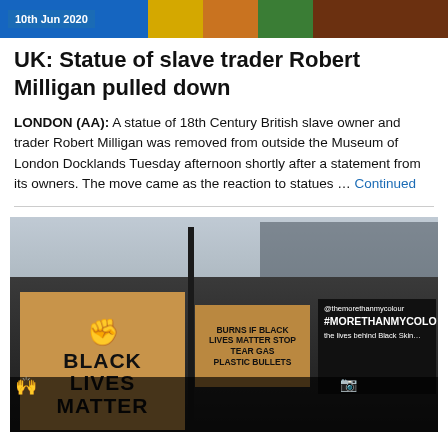[Figure (photo): Top banner image showing colorful background with date tag '10th Jun 2020']
UK: Statue of slave trader Robert Milligan pulled down
LONDON (AA): A statue of 18th Century British slave owner and trader Robert Milligan was removed from outside the Museum of London Docklands Tuesday afternoon shortly after a statement from its owners. The move came as the reaction to statues … Continued
[Figure (photo): Photograph of Black Lives Matter protest with crowd holding signs including a large cardboard sign reading 'BLACK LIVES MATTER' with raised fist icon, and other protest signs, in front of a large building]